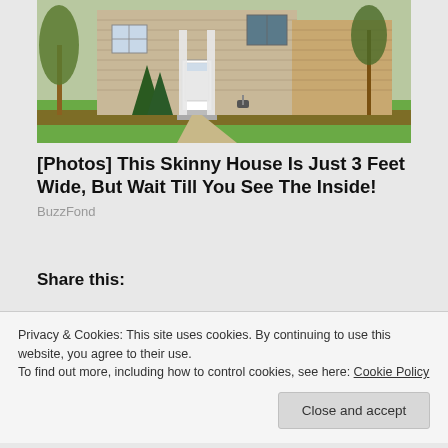[Figure (photo): Exterior photo of a beige/tan two-story house with white front door, evergreen shrubs, manicured lawn, and sidewalk in a residential neighborhood]
[Photos] This Skinny House Is Just 3 Feet Wide, But Wait Till You See The Inside!
BuzzFond
Share this:
Privacy & Cookies: This site uses cookies. By continuing to use this website, you agree to their use.
To find out more, including how to control cookies, see here: Cookie Policy
Close and accept